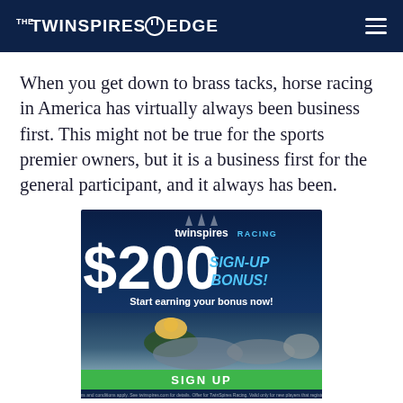THE TWINSPIRES EDGE
When you get down to brass tacks, horse racing in America has virtually always been business first. This might not be true for the sports premier owners, but it is a business first for the general participant, and it always has been.
[Figure (infographic): TwinSpires Racing advertisement banner showing $200 Sign-Up Bonus promotion with horse racing imagery, 'Start earning your bonus now!' text, and a green SIGN UP button. Fine print at bottom references TwinSpires Racing terms and conditions.]